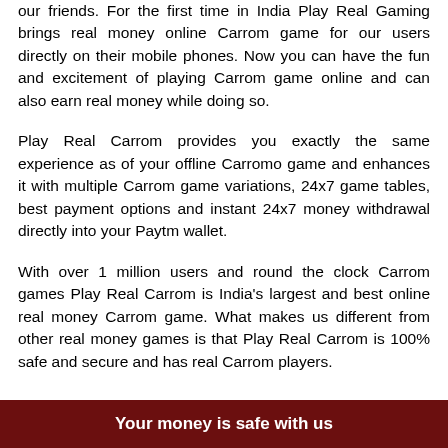our friends. For the first time in India Play Real Gaming brings real money online Carrom game for our users directly on their mobile phones. Now you can have the fun and excitement of playing Carrom game online and can also earn real money while doing so.
Play Real Carrom provides you exactly the same experience as of your offline Carromo game and enhances it with multiple Carrom game variations, 24x7 game tables, best payment options and instant 24x7 money withdrawal directly into your Paytm wallet.
With over 1 million users and round the clock Carrom games Play Real Carrom is India's largest and best online real money Carrom game. What makes us different from other real money games is that Play Real Carrom is 100% safe and secure and has real Carrom players.
Your money is safe with us